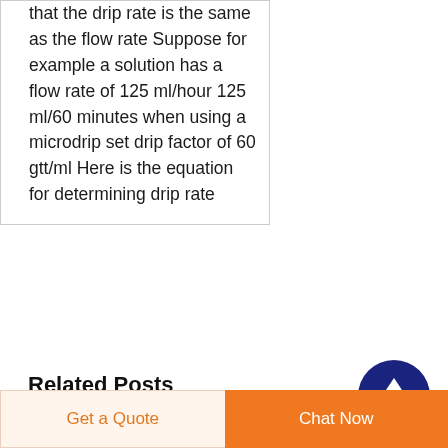that the drip rate is the same as the flow rate Suppose for example a solution has a flow rate of 125 ml/hour 125 ml/60 minutes when using a microdrip set drip factor of 60 gtt/ml Here is the equation for determining drip rate
Related Posts
infusion set with flow regulator price in Kyrgystan
in-line filter price in Bangladesh
infusion feeding set Suriname
iv administration set with precision iv flow regulator for
Get a Quote | Chat Now